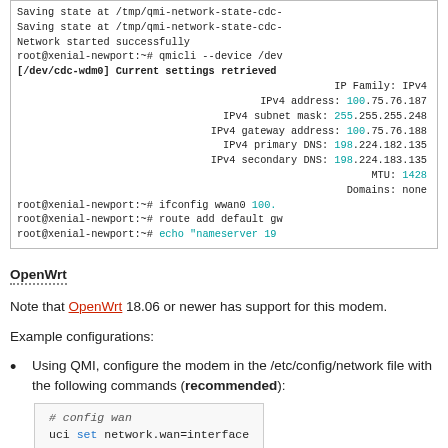[Figure (screenshot): Terminal output showing network configuration: saving state, network started, qmicli command output with IP Family IPv4, IPv4 address 100.75.76.187, subnet mask 255.255.255.248, gateway 100.75.76.188, primary DNS 198.224.182.135, secondary DNS 198.224.183.135, MTU 1428, Domains: none, then ifconfig and route commands, and echo nameserver command.]
OpenWrt
Note that OpenWrt 18.06 or newer has support for this modem.
Example configurations:
Using QMI, configure the modem in the /etc/config/network file with the following commands (recommended):
[Figure (screenshot): Code block showing: # config wan (comment/italic), uci set network.wan=interface]